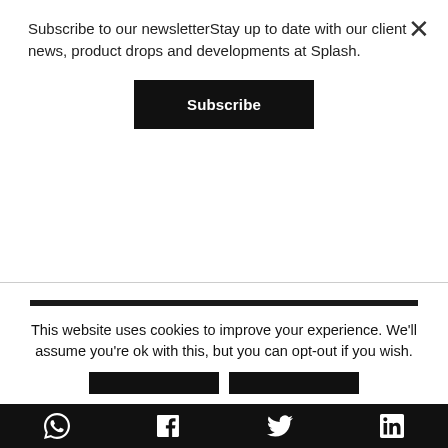Subscribe to our newsletterStay up to date with our client news, product drops and developments at Splash.
Subscribe
PUMA drops Art of Sport capsule
This website uses cookies to improve your experience. We'll assume you're ok with this, but you can opt-out if you wish.
[Figure (other): Social media share bar with WhatsApp, Facebook, Twitter, and LinkedIn icons on a black background]